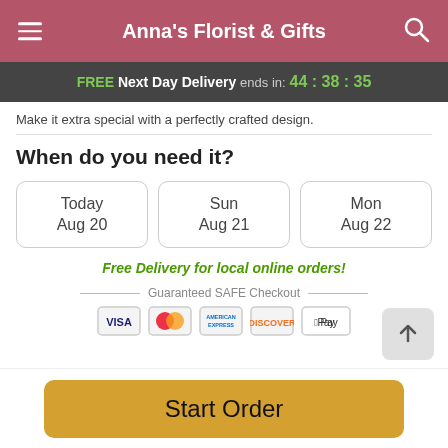Anna's Florist & Gifts
FREE Next Day Delivery ends in: 44 : 38 : 35
Make it extra special with a perfectly crafted design.
When do you need it?
Today Aug 20
Sun Aug 21
Mon Aug 22
Free Delivery for local online orders!
Guaranteed SAFE Checkout
[Figure (infographic): Payment icons: VISA, Mastercard, American Express, Discover, Apple Pay]
Start Order